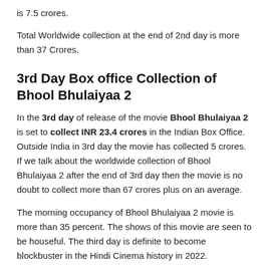is 7.5 crores.
Total Worldwide collection at the end of 2nd day is more than 37 Crores.
3rd Day Box office Collection of Bhool Bhulaiyaa 2
In the 3rd day of release of the movie Bhool Bhulaiyaa 2 is set to collect INR 23.4 crores in the Indian Box Office. Outside India in 3rd day the movie has collected 5 crores. If we talk about the worldwide collection of Bhool Bhulaiyaa 2 after the end of 3rd day then the movie is no doubt to collect more than 67 crores plus on an average.
The morning occupancy of Bhool Bhulaiyaa 2 movie is more than 35 percent. The shows of this movie are seen to be houseful. The third day is definite to become blockbuster in the Hindi Cinema history in 2022.